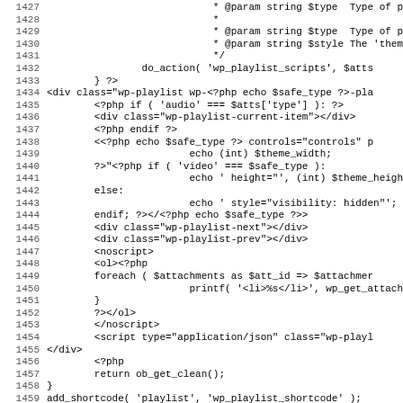Source code listing, lines 1427-1459, PHP/HTML mixed code for WordPress playlist shortcode